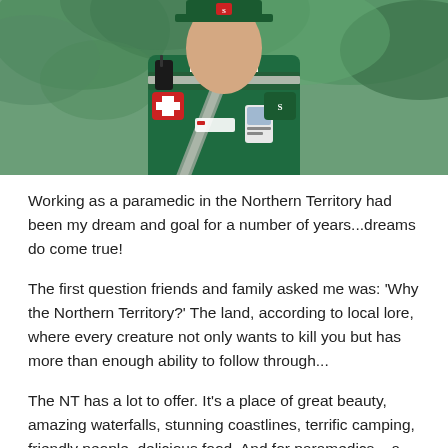[Figure (photo): Close-up photo of a paramedic in a green uniform with radio, ID badge, and reflective shoulder straps, standing outdoors with green foliage in the background]
Working as a paramedic in the Northern Territory had been my dream and goal for a number of years...dreams do come true!
The first question friends and family asked me was: 'Why the Northern Territory?' The land, according to local lore, where every creature not only wants to kill you but has more than enough ability to follow through...
The NT has a lot to offer. It's a place of great beauty, amazing waterfalls, stunning coastlines, terrific camping, friendly people, delicious food. And for paramedics – a great diversity of patient presentations.
During the first day of paramedic induction all the fresh new graduate interns walked into the classroom nervous and